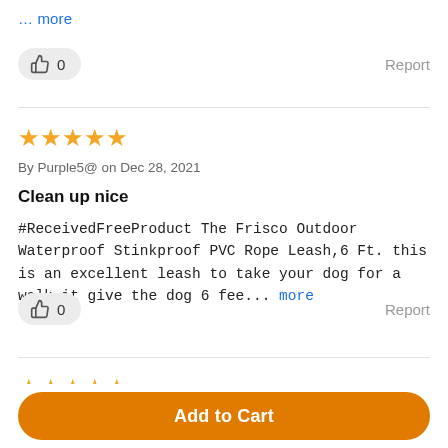… more
👍 0   Report
[Figure (other): Five orange stars rating]
By Purple5@ on Dec 28, 2021
Clean up nice
#ReceivedFreeProduct The Frisco Outdoor Waterproof Stinkproof PVC Rope Leash,6 Ft. this is an excellent leash to take your dog for a walk it give the dog 6 fee... more
👍 0   Report
[Figure (other): Five orange stars rating (partial view)]
Add to Cart